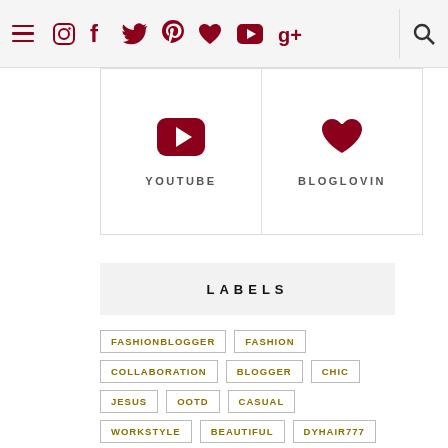Navigation bar with social icons: menu, instagram, facebook, twitter, pinterest, bloglovin heart, youtube, google+, search
[Figure (illustration): YouTube icon (play button triangle) card with label YOUTUBE]
[Figure (illustration): Bloglovin heart icon card with label BLOGLOVIN]
LABELS
FASHIONBLOGGER
FASHION
COLLABORATION
BLOGGER
CHIC
JESUS
OOTD
CASUAL
WORKSTYLE
BEAUTIFUL
DYHAIR777
FEATURED
STYLE
DENIM
EYEGLASSES
MAKEUP
LOOKS
SPONSORS
BIG HAIR
HEALTH TIPS